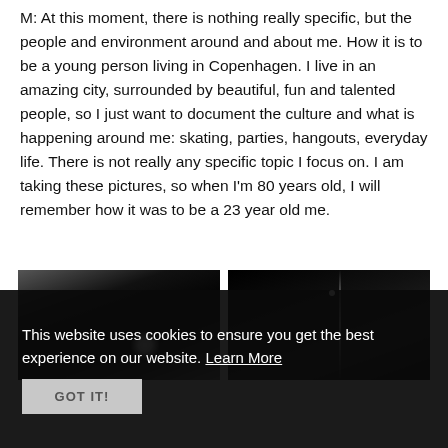M: At this moment, there is nothing really specific, but the people and environment around and about me. How it is to be a young person living in Copenhagen. I live in an amazing city, surrounded by beautiful, fun and talented people, so I just want to document the culture and what is happening around me: skating, parties, hangouts, everyday life. There is not really any specific topic I focus on. I am taking these pictures, so when I'm 80 years old, I will remember how it was to be a 23 year old me.
[Figure (photo): Two dark black-and-white photographs side by side. Left photo shows a blurred indoor scene with a bright glowing light. Right photo shows a dark scene with a bright vertical light streak.]
This website uses cookies to ensure you get the best experience on our website. Learn More
GOT IT!